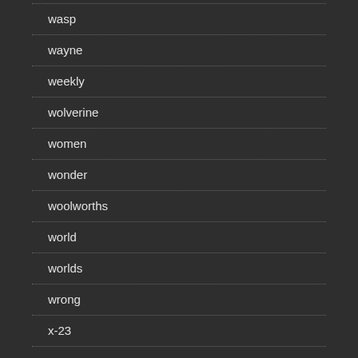wasp
wayne
weekly
wolverine
women
wonder
woolworths
world
worlds
wrong
x-23
x-men
year